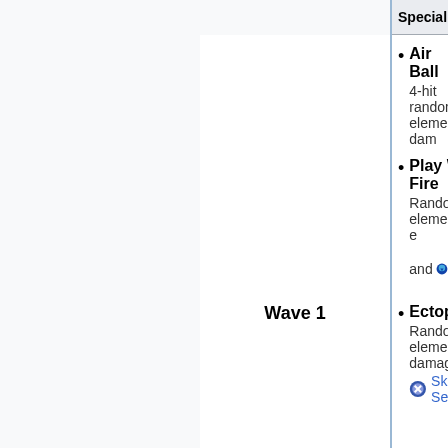| Special At... |
| --- |
| Wave 1 | Air Ball
4-hit random element dam...
Play With Fire
Random element damage and 30% Charge Cut...
Ectoplasm
Random element damage Skill Sealed |
Air Ball — 4-hit random element dam...
Play With Fire — Random element damage and 30% Charge Cut...
Ectoplasm — Random element damage Skill Sealed
First clear: Crystal ×50
Wooden
Brown Tome
Red Tome
Blue Tome